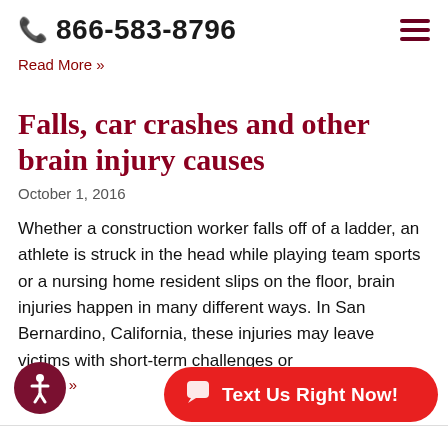866-583-8796
Read More »
Falls, car crashes and other brain injury causes
October 1, 2016
Whether a construction worker falls off of a ladder, an athlete is struck in the head while playing team sports or a nursing home resident slips on the floor, brain injuries happen in many different ways. In San Bernardino, California, these injuries may leave victims with short-term challenges or
d More »
[Figure (other): Accessibility icon button (circular, dark red background with person/wheelchair symbol)]
[Figure (other): Text Us Right Now! button (red rounded pill button with chat icon)]